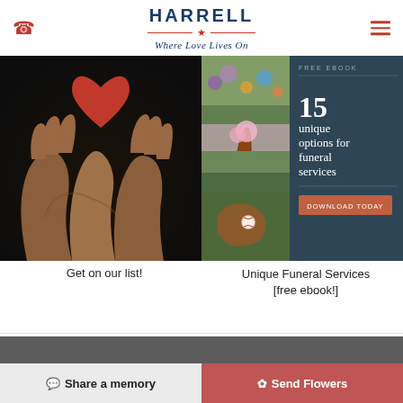HARRELL — Where Love Lives On
[Figure (photo): Hands holding a red heart shape against dark background]
Get on our list!
[Figure (infographic): Free ebook promo panel: 15 unique options for funeral services, with three nature photos and a Download Today button]
Unique Funeral Services [free ebook!]
Share a memory
Send Flowers
Plant a Tree